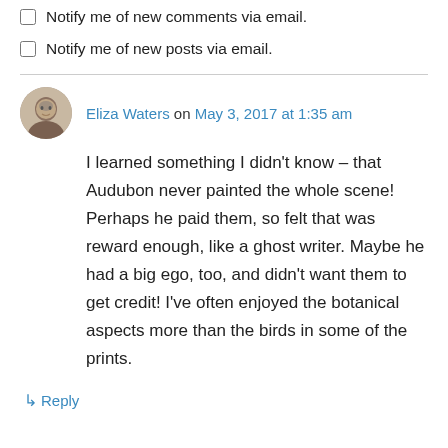Notify me of new comments via email.
Notify me of new posts via email.
Eliza Waters on May 3, 2017 at 1:35 am
I learned something I didn't know – that Audubon never painted the whole scene! Perhaps he paid them, so felt that was reward enough, like a ghost writer. Maybe he had a big ego, too, and didn't want them to get credit! I've often enjoyed the botanical aspects more than the birds in some of the prints.
↳ Reply